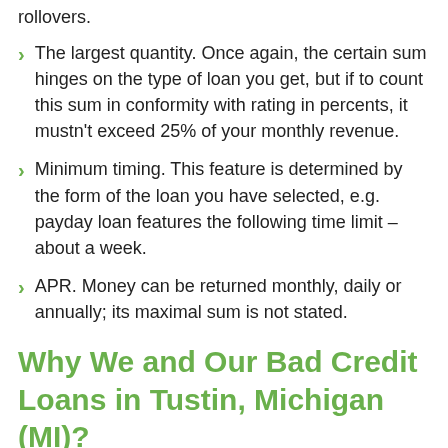rollovers.
The largest quantity. Once again, the certain sum hinges on the type of loan you get, but if to count this sum in conformity with rating in percents, it mustn't exceed 25% of your monthly revenue.
Minimum timing. This feature is determined by the form of the loan you have selected, e.g. payday loan features the following time limit – about a week.
APR. Money can be returned monthly, daily or annually; its maximal sum is not stated.
Why We and Our Bad Credit Loans in Tustin, Michigan (MI)?